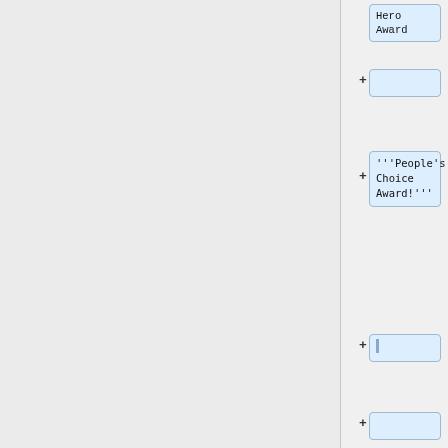Hero Award
'''People's Choice Award!'''
20. [http://tseringnorbu.com/Pravda-Ecstatic Pravda Ecstatic] ~ 3:07
Tsering Norbu (Oakland